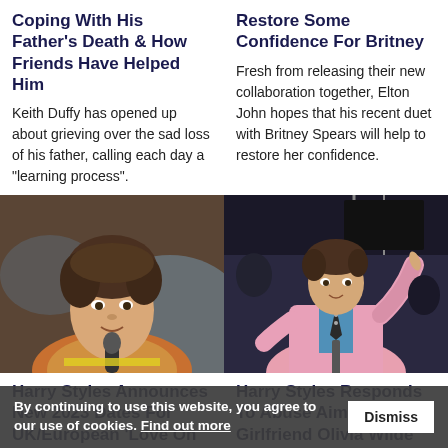Coping With His Father's Death & How Friends Have Helped Him
Keith Duffy has opened up about grieving over the sad loss of his father, calling each day a "learning process".
Restore Some Confidence For Britney
Fresh from releasing their new collaboration together, Elton John hopes that his recent duet with Britney Spears will help to restore her confidence.
[Figure (photo): Young man with curly brown hair speaking into a microphone, blurred background]
[Figure (photo): Young man in pink jacket on stage pointing finger, performing at a concert]
Harry Styles Announces New 2023 Dates For UK/European 'Love On Tour'
Harry Styles Responds To Abuse Aimed At Girlfriend Olivia Wilde
Harry Sty... ponded
By continuing to use this website, you agree to our use of cookies. Find out more